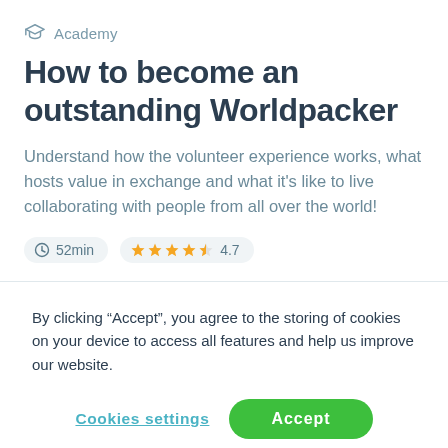Academy
How to become an outstanding Worldpacker
Understand how the volunteer experience works, what hosts value in exchange and what it's like to live collaborating with people from all over the world!
52min  ★★★★★ 4.7
By clicking “Accept”, you agree to the storing of cookies on your device to access all features and help us improve our website.
Cookies settings  Accept